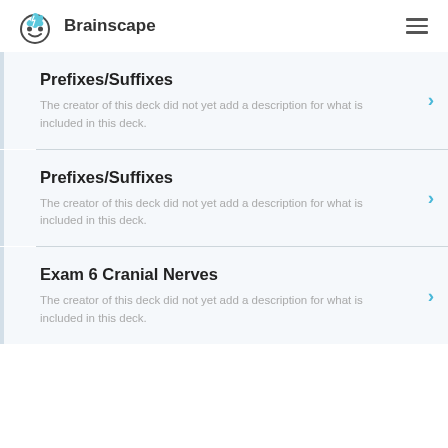Brainscape
Prefixes/Suffixes
The creator of this deck did not yet add a description for what is included in this deck.
Prefixes/Suffixes
The creator of this deck did not yet add a description for what is included in this deck.
Exam 6 Cranial Nerves
The creator of this deck did not yet add a description for what is included in this deck.